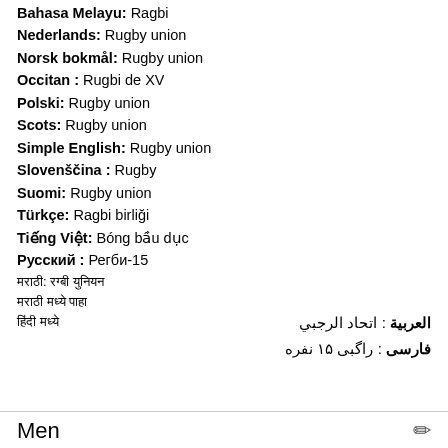Bahasa Melayu: Ragbi
Nederlands: Rugby union
Norsk bokmål: Rugby union
Occitan : Rugbi de XV
Polski: Rugby union
Scots: Rugby union
Simple English: Rugby union
Slovenščina : Rugby
Suomi: Rugby union
Türkçe: Ragbi birliği
Tiếng Việt: Bóng bầu dục
Русский : Регби-15
मराठी: रग्बी युनियन
मराठी अन्य पंक्ती
हिंदी पंक्ती
العربية : اتحاد الرجبي
فارسی : راگبی ۱۵ نفره
Men